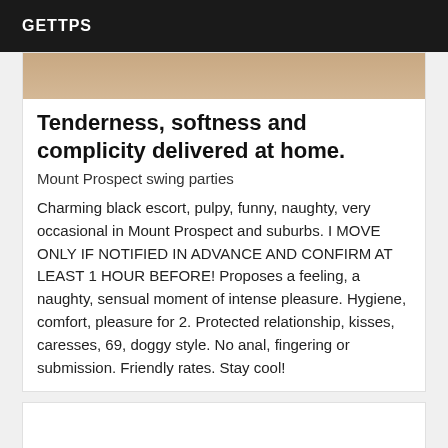GETTPS
[Figure (photo): Partial photo of a person, cropped to show upper body area]
Tenderness, softness and complicity delivered at home.
Mount Prospect swing parties
Charming black escort, pulpy, funny, naughty, very occasional in Mount Prospect and suburbs. I MOVE ONLY IF NOTIFIED IN ADVANCE AND CONFIRM AT LEAST 1 HOUR BEFORE! Proposes a feeling, a naughty, sensual moment of intense pleasure. Hygiene, comfort, pleasure for 2. Protected relationship, kisses, caresses, 69, doggy style. No anal, fingering or submission. Friendly rates. Stay cool!
[Figure (photo): Second listing card with VIP badge, photo not visible]